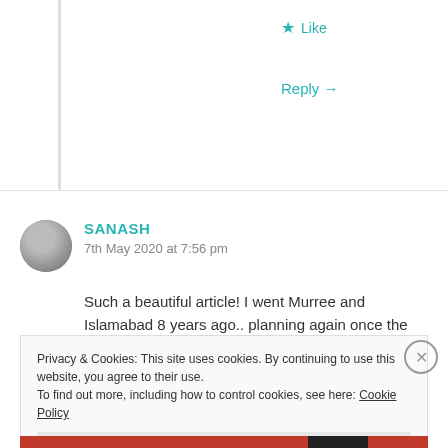★ Like
Reply →
SANASH
7th May 2020 at 7:56 pm
Such a beautiful article! I went Murree and Islamabad 8 years ago.. planning again once the virus clears up. Loving the Northern areas of paki
Privacy & Cookies: This site uses cookies. By continuing to use this website, you agree to their use. To find out more, including how to control cookies, see here: Cookie Policy
Close and accept